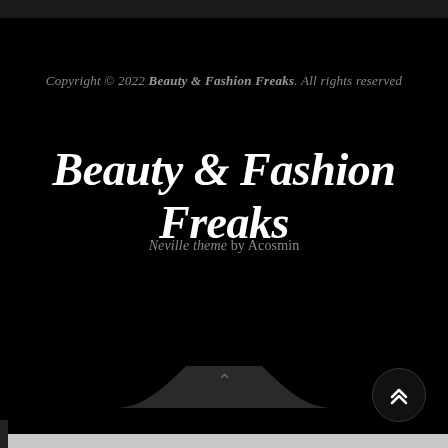Copyright © 2022 Beauty & Fashion Freaks. All rights reserved
Beauty & Fashion Freaks
Neville theme by Acosmin
[Figure (other): Wave shape scroll-to-top UI element with upward chevron arrow, and a circular scroll-to-top button with double chevron on the right side]